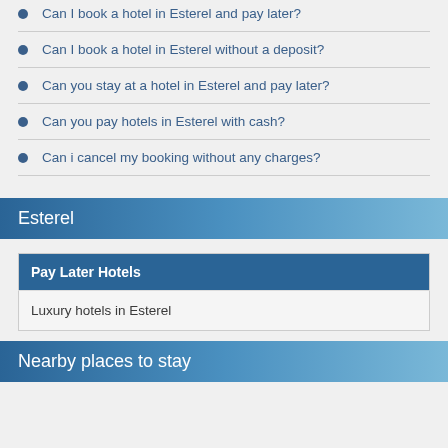Can I book a hotel in Esterel and pay later?
Can I book a hotel in Esterel without a deposit?
Can you stay at a hotel in Esterel and pay later?
Can you pay hotels in Esterel with cash?
Can i cancel my booking without any charges?
Esterel
| Pay Later Hotels |
| --- |
| Luxury hotels in Esterel |
Nearby places to stay